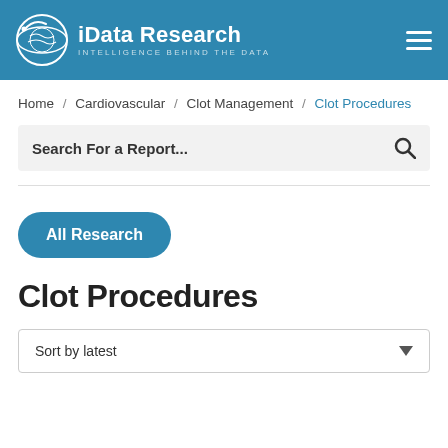iData Research — INTELLIGENCE BEHIND THE DATA
Home / Cardiovascular / Clot Management / Clot Procedures
Search For a Report...
All Research
Clot Procedures
Sort by latest